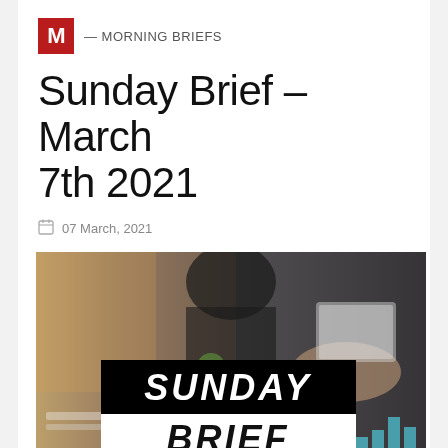M — MORNING BRIEFS
Sunday Brief – March 7th 2021
07 March, 2021
[Figure (photo): Photo of people working at a desk with documents and a tablet, overlaid with bold italic text reading SUNDAY BRIEF on a black and white banner]